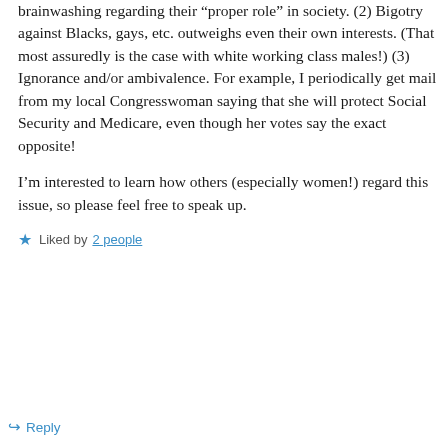brainwashing regarding their “proper role” in society. (2) Bigotry against Blacks, gays, etc. outweighs even their own interests. (That most assuredly is the case with white working class males!) (3) Ignorance and/or ambivalence. For example, I periodically get mail from my local Congresswoman saying that she will protect Social Security and Medicare, even though her votes say the exact opposite!
I’m interested to learn how others (especially women!) regard this issue, so please feel free to speak up.
★ Liked by 2 people
↪ Reply